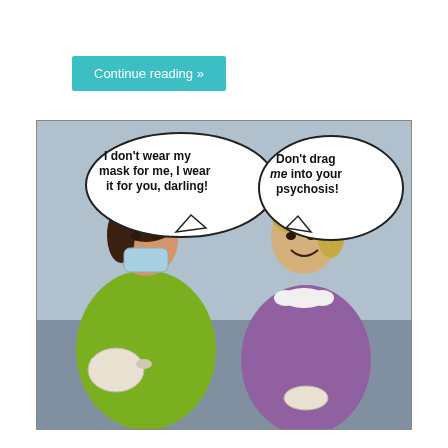Continue reading »
[Figure (illustration): Retro-style comic illustration of two women having tea. The woman on the left wears a green dress and a surgical mask, holding a teapot, with a speech bubble saying 'I don't wear my mask for me, I wear it for you, darling!' The woman on the right wears a purple dress with a white bow, holding a teacup, with a speech bubble saying 'Don't drag me into your psychosis!']